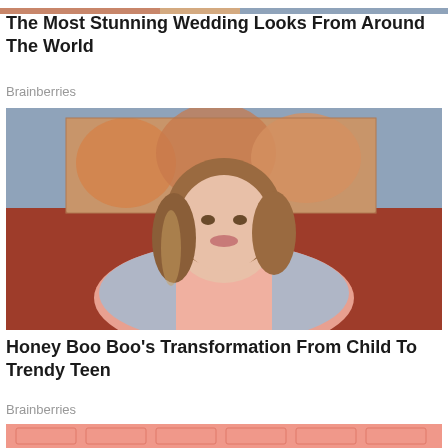[Figure (photo): Narrow horizontal strip of a photo at the very top of the page, showing warm tones (flesh/orange/blue)]
The Most Stunning Wedding Looks From Around The World
Brainberries
[Figure (photo): Young woman with long wavy brown/blonde hair, wearing a light blue denim shirt over a pink top, sitting on a red couch. A colorful painting of flowers is visible in the background on a blue wall.]
Honey Boo Boo's Transformation From Child To Trendy Teen
Brainberries
[Figure (photo): Partial view of a pink/salmon colored image showing overlapping US dollar bills pattern, cut off at page bottom.]